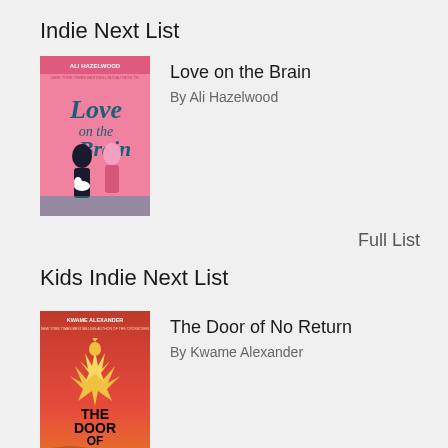Indie Next List
[Figure (illustration): Book cover of 'Love on the Brain' by Ali Hazelwood. Pink background with illustrated characters and cursive/hand-lettered title text.]
Love on the Brain
By Ali Hazelwood
Full List
Kids Indie Next List
[Figure (illustration): Book cover of 'The Door of No Return' by Kwame Alexander. Red/orange background with bold black text and a golden bird/phoenix illustration.]
The Door of No Return
By Kwame Alexander